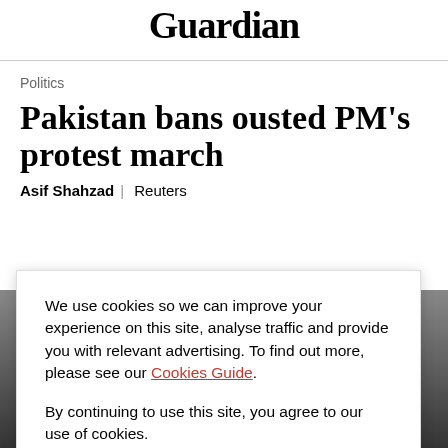Guardian
Politics
Pakistan bans ousted PM's protest march
Asif Shahzad | Reuters
[Figure (photo): Photograph of protesters or crowd scene, partially visible behind cookie consent overlay]
We use cookies so we can improve your experience on this site, analyse traffic and provide you with relevant advertising. To find out more, please see our Cookies Guide.

By continuing to use this site, you agree to our use of cookies.